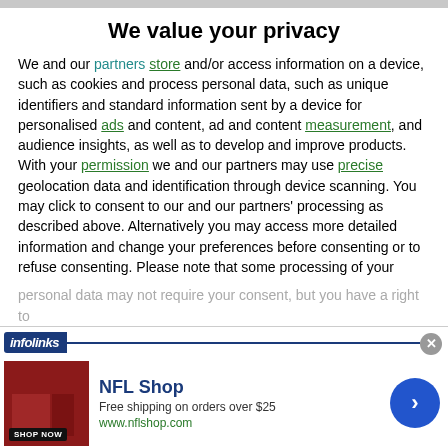We value your privacy
We and our partners store and/or access information on a device, such as cookies and process personal data, such as unique identifiers and standard information sent by a device for personalised ads and content, ad and content measurement, and audience insights, as well as to develop and improve products. With your permission we and our partners may use precise geolocation data and identification through device scanning. You may click to consent to our and our partners' processing as described above. Alternatively you may access more detailed information and change your preferences before consenting or to refuse consenting. Please note that some processing of your personal data may not require your consent, but you have a right to
[Figure (screenshot): Infolinks advertisement banner for NFL Shop showing red apparel image, 'NFL Shop' brand name, 'Free shipping on orders over $25', 'www.nflshop.com', SHOP NOW button, and a blue arrow circle]